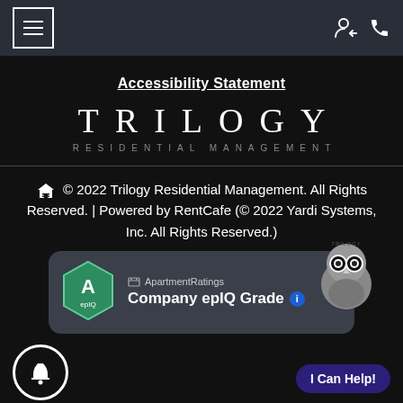Navigation bar with hamburger menu, user icon, and phone icon
Accessibility Statement
[Figure (logo): Trilogy Residential Management logo — large spaced letters TRILOGY above smaller spaced text RESIDENTIAL MANAGEMENT]
© 2022 Trilogy Residential Management. All Rights Reserved. | Powered by RentCafe (© 2022 Yardi Systems, Inc. All Rights Reserved.)
[Figure (infographic): ApartmentRatings Company epIQ Grade badge widget showing hexagonal A grade badge, ApartmentRatings label, Company epIQ Grade text with info circle, and Trilogy mascot owl logo]
[Figure (other): Concierge bell circle button at bottom left]
I Can Help!